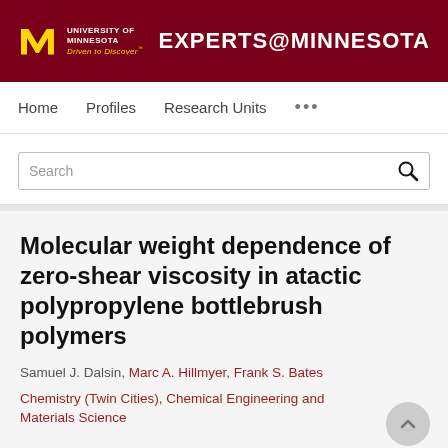University of Minnesota Driven to Discover — EXPERTS@MINNESOTA
Home   Profiles   Research Units   ...
Search
Molecular weight dependence of zero-shear viscosity in atactic polypropylene bottlebrush polymers
Samuel J. Dalsin, Marc A. Hillmyer, Frank S. Bates
Chemistry (Twin Cities), Chemical Engineering and Materials Science